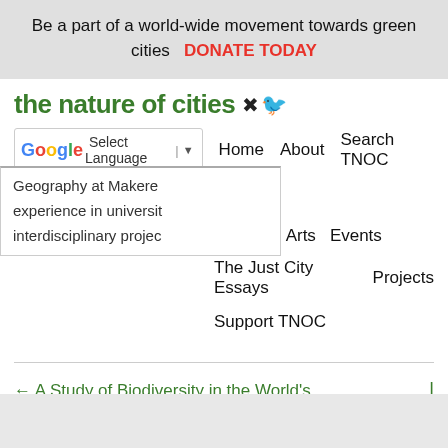Be a part of a world-wide movement towards green cities  DONATE TODAY
the nature of cities
Select Language  Home  About  Search TNOC
Geography at Makere
experience in universit
interdisciplinary projec
Explore  Arts  Events
The Just City Essays  Projects
Support TNOC
← A Study of Biodiversity in the World's Cities